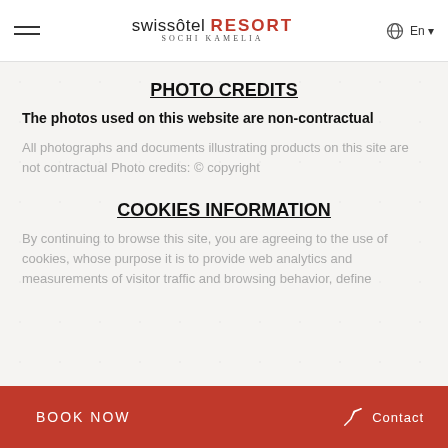swissôtel RESORT SOCHI KAMELIA — En
PHOTO CREDITS
The photos used on this website are non-contractual
All photographs and documents illustrating products on this site are not contractual Photo credits: © copyright
COOKIES INFORMATION
By continuing to browse this site, you are agreeing to the use of cookies, whose purpose it is to provide web analytics and measurements of visitor traffic and browsing behavior, define
BOOK NOW   Contact